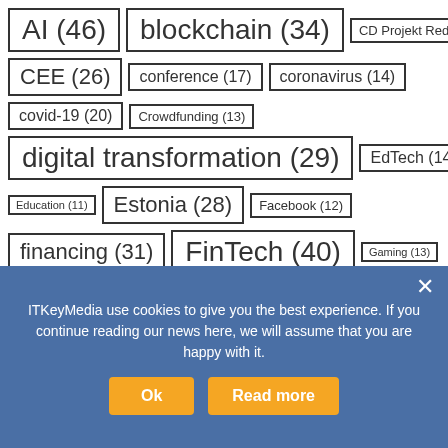AI (46)
blockchain (34)
CD Projekt Red (14)
CEE (26)
conference (17)
coronavirus (14)
covid-19 (20)
Crowdfunding (13)
digital transformation (29)
EdTech (14)
Education (11)
Estonia (28)
Facebook (12)
financing (31)
FinTech (40)
Gaming (13)
Google (22)
In Poland (11)
Investment (99)
IoT (12)
Kickstarter (13)
ITKeyMedia use cookies to give you the best experience. If you continue reading our news here, we will assume that you are happy with it.